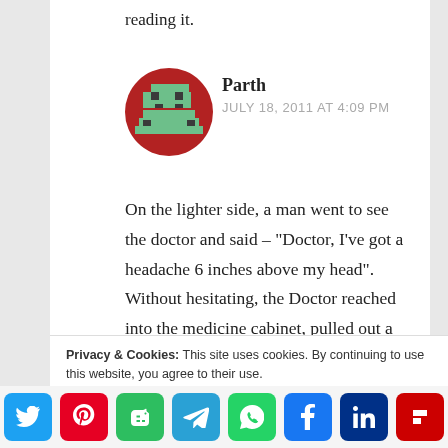reading it.
[Figure (illustration): Pixel art avatar of a character on a dark red circular background]
Parth
JULY 18, 2011 AT 4:09 PM
On the lighter side, a man went to see the doctor and said – "Doctor, I've got a headache 6 inches above my head".  Without hesitating, the Doctor reached into the medicine cabinet, pulled out a bottle of tablets and told the man – "Here – use these tablets – but make sure you take 3 of  them 1/2 an hour before you wake up each
Privacy & Cookies: This site uses cookies. By continuing to use this website, you agree to their use.
To find out more, including how to control cookies, see here: Cookie Policy
[Figure (infographic): Social sharing buttons: Twitter, Pinterest, Evernote, Telegram, WhatsApp, Facebook, LinkedIn, Flipboard]